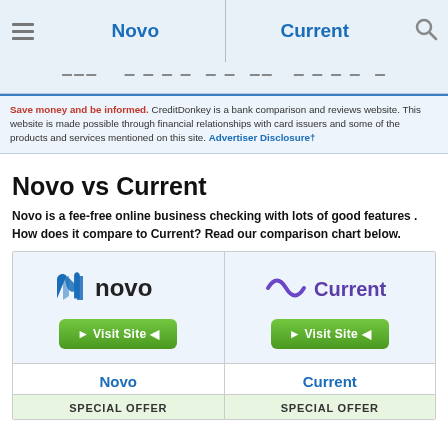Novo | Current
Save money and be informed. CreditDonkey is a bank comparison and reviews website. This website is made possible through financial relationships with card issuers and some of the products and services mentioned on this site. Advertiser Disclosure†
Novo vs Current
Novo is a fee-free online business checking with lots of good features . How does it compare to Current? Read our comparison chart below.
| Novo | Current |
| --- | --- |
| [Novo logo] Visit Site | [Current logo] Visit Site |
| Novo | Current |
| SPECIAL OFFER | SPECIAL OFFER |